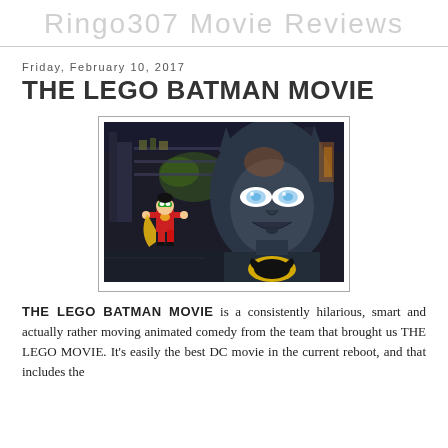Ringo307 Movie Reviews
Friday, February 10, 2017
THE LEGO BATMAN MOVIE
[Figure (photo): Scene from The Lego Batman Movie showing Lego Robin figure in red costume on the left and a close-up of Lego Batman's face on the right, with a dark industrial background]
THE LEGO BATMAN MOVIE is a consistently hilarious, smart and actually rather moving animated comedy from the team that brought us THE LEGO MOVIE. It's easily the best DC movie in the current reboot, and that includes the